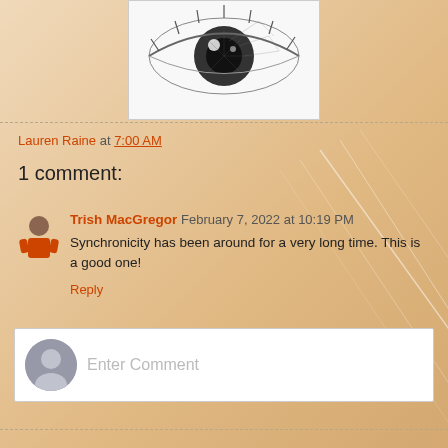[Figure (photo): Close-up black and white photo of a human eye with detailed iris and lashes]
Lauren Raine at 7:00 AM
1 comment:
Trish MacGregor February 7, 2022 at 10:19 PM
Synchronicity has been around for a very long time. This is a good one!
Reply
Enter Comment